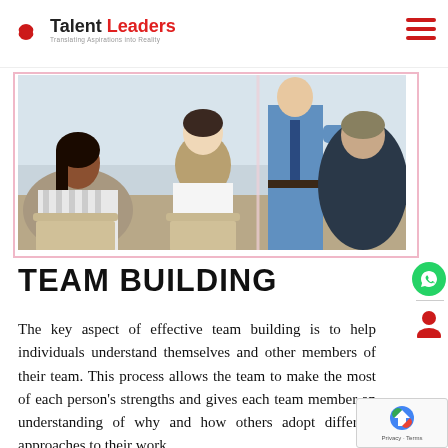Talent Leaders — Translating Aspirations into Reality
[Figure (photo): Group of people seated in chairs viewed from behind, facing a presenter in a blue shirt in a meeting or training room setting.]
TEAM BUILDING
The key aspect of effective team building is to help individuals understand themselves and other members of their team. This process allows the team to make the most of each person's strengths and gives each team member an understanding of why and how others adopt different approaches to their work